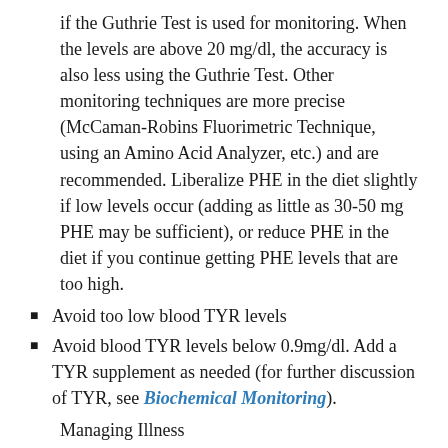if the Guthrie Test is used for monitoring. When the levels are above 20 mg/dl, the accuracy is also less using the Guthrie Test. Other monitoring techniques are more precise (McCaman-Robins Fluorimetric Technique, using an Amino Acid Analyzer, etc.) and are recommended. Liberalize PHE in the diet slightly if low levels occur (adding as little as 30-50 mg PHE may be sufficient), or reduce PHE in the diet if you continue getting PHE levels that are too high.
Avoid too low blood TYR levels
Avoid blood TYR levels below 0.9mg/dl. Add a TYR supplement as needed (for further discussion of TYR, see Biochemical Monitoring).
Managing Illness
There will be times when the on-diet adult